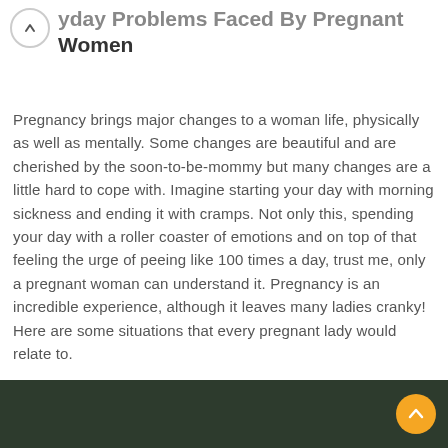yday Problems Faced By Pregnant Women
Pregnancy brings major changes to a woman life, physically as well as mentally. Some changes are beautiful and are cherished by the soon-to-be-mommy but many changes are a little hard to cope with. Imagine starting your day with morning sickness and ending it with cramps. Not only this, spending your day with a roller coaster of emotions and on top of that feeling the urge of peeing like 100 times a day, trust me, only a pregnant woman can understand it. Pregnancy is an incredible experience, although it leaves many ladies cranky! Here are some situations that every pregnant lady would relate to.
[Figure (photo): Bottom strip showing a dark-colored photo of a pregnant woman, partially visible]